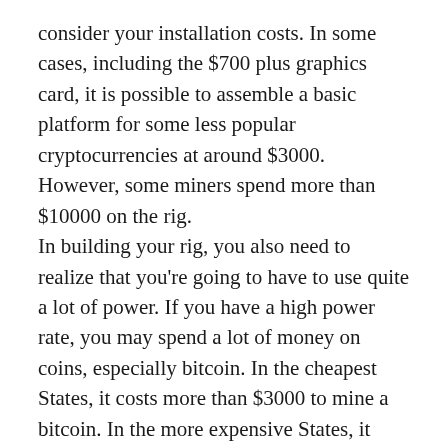consider your installation costs. In some cases, including the $700 plus graphics card, it is possible to assemble a basic platform for some less popular cryptocurrencies at around $3000. However, some miners spend more than $10000 on the rig. In building your rig, you also need to realize that you're going to have to use quite a lot of power. If you have a high power rate, you may spend a lot of money on coins, especially bitcoin. In the cheapest States, it costs more than $3000 to mine a bitcoin. In the more expensive States, it costs more than $6000 to mine a bitcoin. As of December 2019, the cost of a coin hovers around $7000, and energy costs alone are not worth it. A less powerful rig to exploit alternative currencies can save you money. Even so, it may take weeks or even months to recover the initial investment and make a profit.